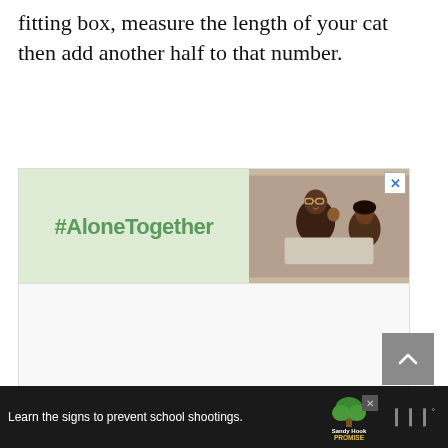fitting box, measure the length of your cat then add another half to that number.
[Figure (illustration): Advertisement banner with green left panel showing '#AloneTogether' in bold green text and right panel showing a photo of a man and child on a video call, with a close (X) button in the top right corner.]
[Figure (screenshot): Large mostly blank white/light gray content area below the advertisement.]
[Figure (illustration): Gray scroll-to-top button with upward chevron arrow in the bottom right area.]
[Figure (illustration): Black footer ad bar reading 'Learn the signs to prevent school shootings.' with Sandy Hook Promise tree logo and a branded icon on the right, with a close X button.]